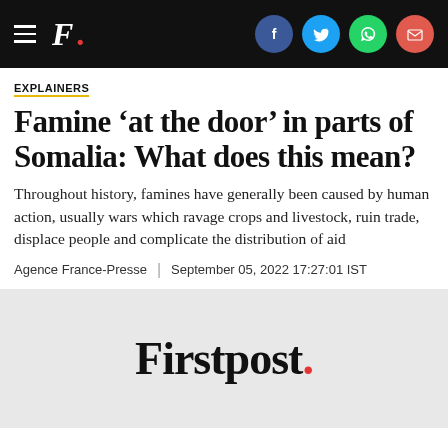F. [Firstpost logo header with social icons: Facebook, Twitter, WhatsApp, Email]
EXPLAINERS
Famine ‘at the door’ in parts of Somalia: What does this mean?
Throughout history, famines have generally been caused by human action, usually wars which ravage crops and livestock, ruin trade, displace people and complicate the distribution of aid
Agence France-Presse | September 05, 2022 17:27:01 IST
[Figure (logo): Firstpost. logo in large bold serif font with red period, on light gray background]